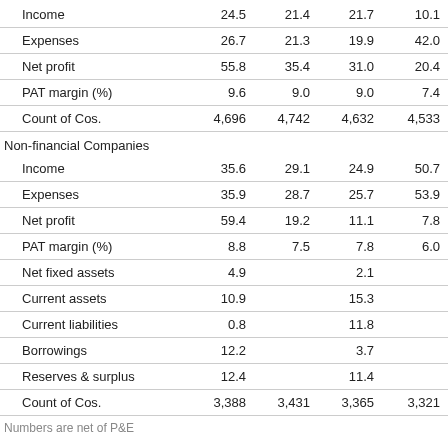|  | col1 | col2 | col3 | col4 |
| --- | --- | --- | --- | --- |
| Income (partial/top) | 24.5 | 21.4 | 21.7 | 10.1 |
| Expenses | 26.7 | 21.3 | 19.9 | 42.0 |
| Net profit | 55.8 | 35.4 | 31.0 | 20.4 |
| PAT margin (%) | 9.6 | 9.0 | 9.0 | 7.4 |
| Count of Cos. | 4,696 | 4,742 | 4,632 | 4,533 |
| Non-financial Companies (section header) |  |  |  |  |
| Income | 35.6 | 29.1 | 24.9 | 50.7 |
| Expenses | 35.9 | 28.7 | 25.7 | 53.9 |
| Net profit | 59.4 | 19.2 | 11.1 | 7.8 |
| PAT margin (%) | 8.8 | 7.5 | 7.8 | 6.0 |
| Net fixed assets | 4.9 |  | 2.1 |  |
| Current assets | 10.9 |  | 15.3 |  |
| Current liabilities | 0.8 |  | 11.8 |  |
| Borrowings | 12.2 |  | 3.7 |  |
| Reserves & surplus | 12.4 |  | 11.4 |  |
| Count of Cos. | 3,388 | 3,431 | 3,365 | 3,321 |
Numbers are net of P&E